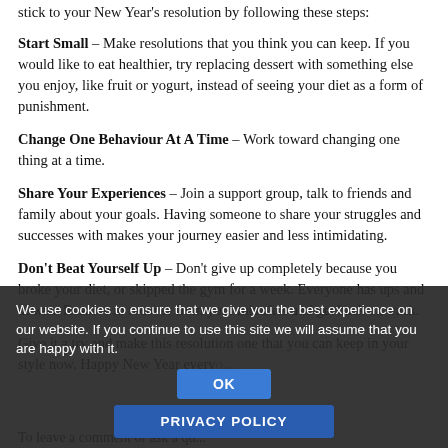stick to your New Year's resolution by following these steps:
Start Small – Make resolutions that you think you can keep. If you would like to eat healthier, try replacing dessert with something else you enjoy, like fruit or yogurt, instead of seeing your diet as a form of punishment.
Change One Behaviour At A Time – Work toward changing one thing at a time.
Share Your Experiences – Join a support group, talk to friends and family about your goals. Having someone to share your struggles and successes with makes your journey easier and less intimidating.
Don't Beat Yourself Up – Don't give up completely because you broke your diet, or skipped the gym for a week. Everyone has ups and downs. Resolve to recover from your mistakes and get back on track.
Give it a try and make this resolution one that you can keep in your lifestyle now. Happy New Year everyone!
We use cookies to ensure that we give you the best experience on our website. If you continue to use this site we will assume that you are happy with it.
To leave a comment or ask a qu...